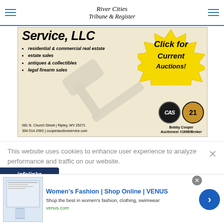River Cities Tribune & Register
[Figure (illustration): Advertisement for Cooper Auction Service, LLC showing services including residential & commercial real estate, estate sales, antiques & collectibles, legal firearm sales. Address: 681 N. Church Street | Ripley, WV 25271, 304-514-2992 | cooperauctionservice.com. Bobby Cooper Auctioneer #1698/Broker. Yellow starburst saying 'Click for Current Auctions!']
This website uses cookies to enhance user experience to analyze performance and traffic on our website.
[Figure (screenshot): Bottom advertisement: Women's Fashion | Shop Online | VENUS - Shop the best in women's fashion, clothing, swimwear - venus.com]